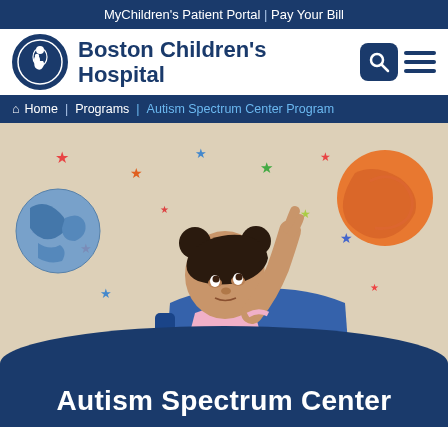MyChildren's Patient Portal | Pay Your Bill
[Figure (logo): Boston Children's Hospital logo with circular emblem and bold text]
Home | Programs | Autism Spectrum Center Program
[Figure (photo): Young toddler girl with buns hairstyle sitting in a blue chair, pointing upward. Background has colorful star and planet decorations on the wall.]
Autism Spectrum Center